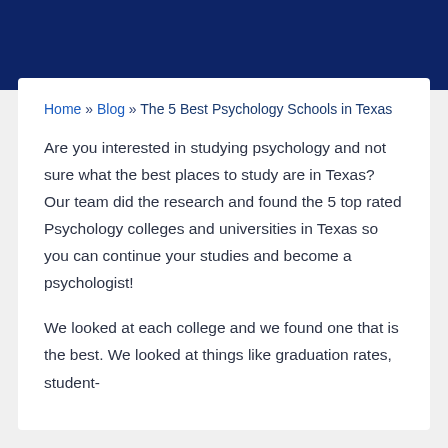Home » Blog » The 5 Best Psychology Schools in Texas
Are you interested in studying psychology and not sure what the best places to study are in Texas? Our team did the research and found the 5 top rated Psychology colleges and universities in Texas so you can continue your studies and become a psychologist!
We looked at each college and we found one that is the best. We looked at things like graduation rates, student-